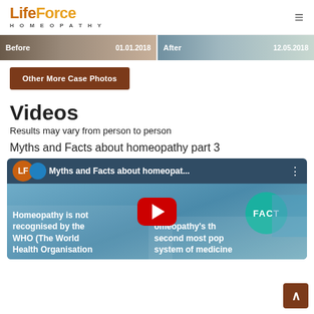[Figure (logo): LifeForce Homeopathy logo with hamburger menu icon]
[Figure (photo): Before and After case photos side by side, Before dated 01.01.2018 and After dated 12.05.2018]
Other More Case Photos
Videos
Results may vary from person to person
Myths and Facts about homeopathy part 3
[Figure (screenshot): YouTube video thumbnail for Myths and Facts about homeopathy part 3, showing LifeForce logo, FACT circle, text about Homeopathy is not recognised by the WHO (The World Health Organisation), and YouTube play button]